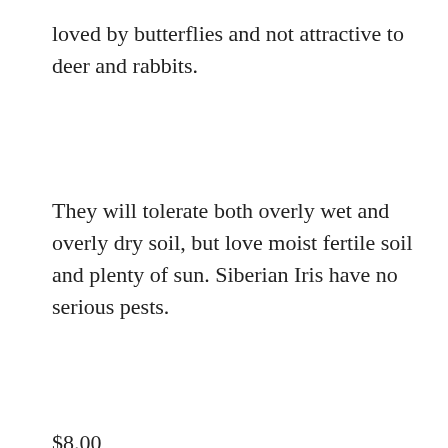loved by butterflies and not attractive to deer and rabbits.
They will tolerate both overly wet and overly dry soil, but love moist fertile soil and plenty of sun. Siberian Iris have no serious pests.
$8.00
Quantity:  1
[Figure (other): Green 'Add to Cart' button with decorative script text in light blue]
[Figure (photo): Partial photo strip showing flowers at the bottom of the page]